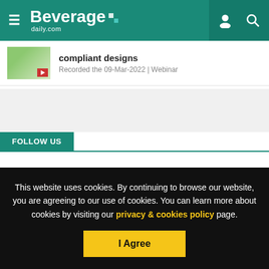Beverage daily.com
compliant designs
Recorded the 09-Mar-2022 | Webinar
FOLLOW US
[Figure (infographic): Social media follow icons: Facebook, Twitter, LinkedIn, Email]
This website uses cookies. By continuing to browse our website, you are agreeing to our use of cookies. You can learn more about cookies by visiting our privacy & cookies policy page.
I Agree